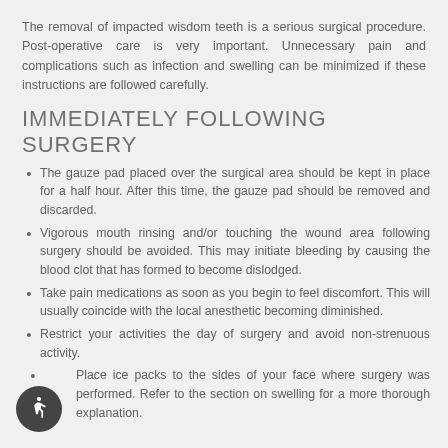The removal of impacted wisdom teeth is a serious surgical procedure. Post-operative care is very important. Unnecessary pain and complications such as infection and swelling can be minimized if these instructions are followed carefully.
IMMEDIATELY FOLLOWING SURGERY
The gauze pad placed over the surgical area should be kept in place for a half hour. After this time, the gauze pad should be removed and discarded.
Vigorous mouth rinsing and/or touching the wound area following surgery should be avoided. This may initiate bleeding by causing the blood clot that has formed to become dislodged.
Take pain medications as soon as you begin to feel discomfort. This will usually coincide with the local anesthetic becoming diminished.
Restrict your activities the day of surgery and avoid non-strenuous activity.
Place ice packs to the sides of your face where surgery was performed. Refer to the section on swelling for a more thorough explanation.